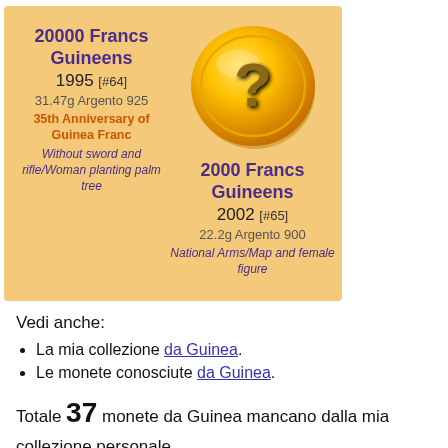[Figure (infographic): Two-column card on tan/golden background showing two coin entries. Left: 20000 Francs Guineens 1995 [#64], 31.47g Argento 925, 35th Anniversary of Guinea Franc, Without sword and rifle/Woman planting palm tree. Right: coin image (gold coin with question mark), 2000 Francs Guineens 2002 [#65], 22.2g Argento 900, National Arms/Map and female figure.]
Vedi anche:
La mia collezione da Guinea.
Le monete conosciute da Guinea.
Totale 37 monete da Guinea mancano dalla mia collezione personale.